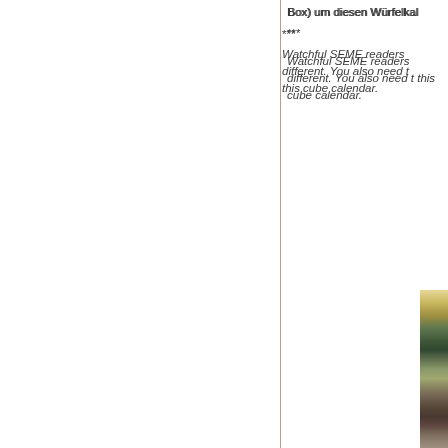Box) um diesen Würfelkal
***
Watchful SEME readers different. You also need t this cube calendar.
[Figure (photo): Vertical strip of a photo showing a cube calendar, partially visible on the right edge of the page]